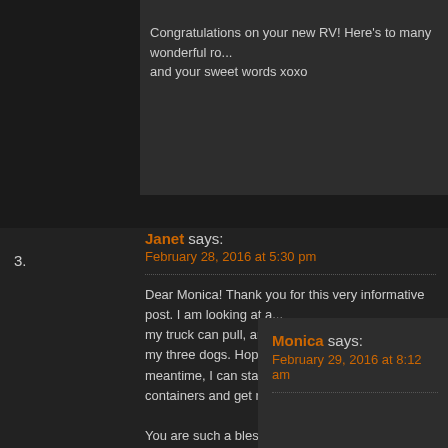Congratulations on your new RV! Here's to many wonderful ro... and your sweet words xoxo
Janet says:
February 28, 2016 at 5:30 pm
Dear Monica! Thank you for this very informative post. I am looking at a... my truck can pull, and will be perfect for me and my three dogs. Hopeful... meantime, I can start collecting my fridge containers and get ready.

You are such a blessing! Thank you.

Sincerely,
Janet
Monica says:
February 29, 2016 at 8:12 am